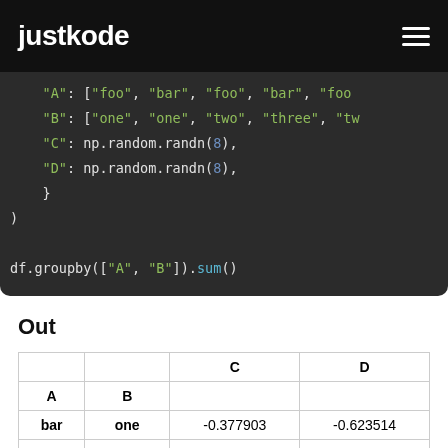justkode
"A": ["foo", "bar", "foo", "bar", "foo
"B": ["one", "one", "two", "three", "tw
"C": np.random.randn(8),
"D": np.random.randn(8),
}
)

df.groupby(["A", "B"]).sum()
Out
|  |  | C | D |
| --- | --- | --- | --- |
| A | B |  |  |
| bar | one | -0.377903 | -0.623514 |
|  | three | -0.391103 | 0.620304 |